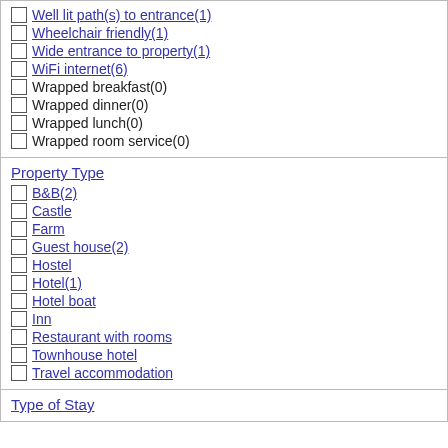Well lit path(s) to entrance(1)
Wheelchair friendly(1)
Wide entrance to property(1)
WiFi internet(6)
Wrapped breakfast(0)
Wrapped dinner(0)
Wrapped lunch(0)
Wrapped room service(0)
Property Type
B&B(2)
Castle
Farm
Guest house(2)
Hostel
Hotel(1)
Hotel boat
Inn
Restaurant with rooms
Townhouse hotel
Travel accommodation
Type of Stay